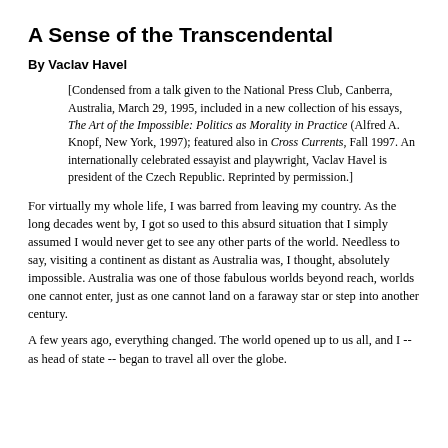A Sense of the Transcendental
By Vaclav Havel
[Condensed from a talk given to the National Press Club, Canberra, Australia, March 29, 1995, included in a new collection of his essays, The Art of the Impossible: Politics as Morality in Practice (Alfred A. Knopf, New York, 1997); featured also in Cross Currents, Fall 1997. An internationally celebrated essayist and playwright, Vaclav Havel is president of the Czech Republic. Reprinted by permission.]
For virtually my whole life, I was barred from leaving my country. As the long decades went by, I got so used to this absurd situation that I simply assumed I would never get to see any other parts of the world. Needless to say, visiting a continent as distant as Australia was, I thought, absolutely impossible. Australia was one of those fabulous worlds beyond reach, worlds one cannot enter, just as one cannot land on a faraway star or step into another century.
A few years ago, everything changed. The world opened up to us all, and I -- as head of state -- began to travel all over the globe.